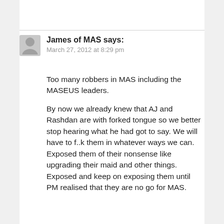James of MAS says:
March 27, 2012 at 8:29 pm
Too many robbers in MAS including the MASEUS leaders.
By now we already knew that AJ and Rashdan are with forked tongue so we better stop hearing what he had got to say. We will have to f..k them in whatever ways we can. Exposed them of their nonsense like upgrading their maid and other things. Exposed and keep on exposing them until PM realised that they are no go for MAS.